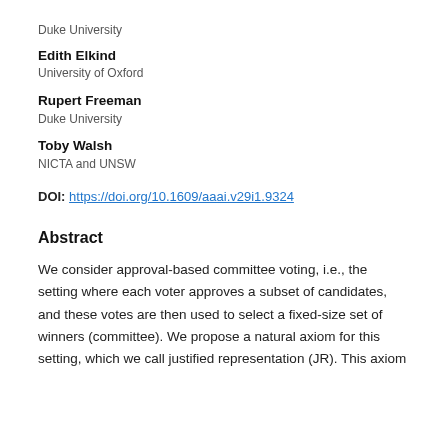Duke University
Edith Elkind
University of Oxford
Rupert Freeman
Duke University
Toby Walsh
NICTA and UNSW
DOI: https://doi.org/10.1609/aaai.v29i1.9324
Abstract
We consider approval-based committee voting, i.e., the setting where each voter approves a subset of candidates, and these votes are then used to select a fixed-size set of winners (committee). We propose a natural axiom for this setting, which we call justified representation (JR). This axiom